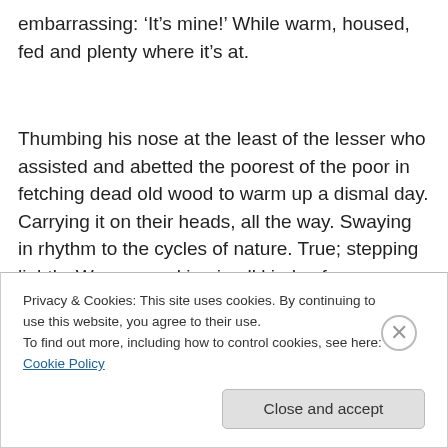embarrassing: ‘It’s mine!’ While warm, housed, fed and plenty where it’s at.
Thumbing his nose at the least of the lesser who assisted and abetted the poorest of the poor in fetching dead old wood to warm up a dismal day. Carrying it on their heads, all the way. Swaying in rhythm to the cycles of nature. True; stepping lightly. Women working in all kinds of
Privacy & Cookies: This site uses cookies. By continuing to use this website, you agree to their use.
To find out more, including how to control cookies, see here: Cookie Policy
Close and accept